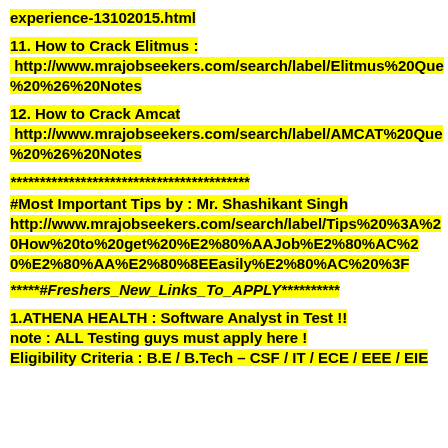experience-13102015.html
11. How to Crack Elitmus : http://www.mrajobseekers.com/search/label/Elitmus%20Que%20%26%20Notes
12. How to Crack Amcat http://www.mrajobseekers.com/search/label/AMCAT%20Que%20%26%20Notes
*****************************************
#Most Important Tips by : Mr. Shashikant Singh http://www.mrajobseekers.com/search/label/Tips%20%3A%20How%20to%20get%20%E2%80%AAJob%E2%80%AC%20%E2%80%AA%E2%80%8EEasily%E2%80%AC%20%3F
*****#Freshers_New_Links_To_APPLY**********
1.ATHENA HEALTH : Software Analyst in Test !! note : ALL Testing guys must apply here ! Eligibility Criteria : B.E / B.Tech – CSF / IT / ECE / EEE / EIE